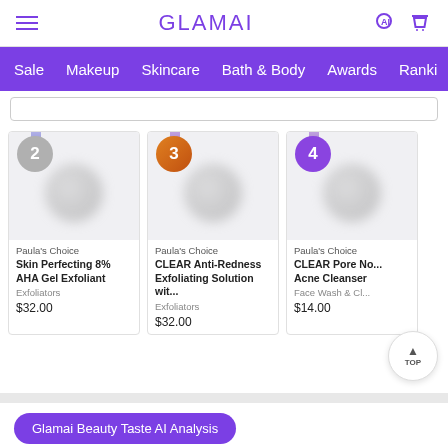GLAMAI
Sale  Makeup  Skincare  Bath & Body  Awards  Ranki
[Figure (screenshot): Search bar input field]
[Figure (infographic): Product card rank #2 - Paula's Choice Skin Perfecting 8% AHA Gel Exfoliant, Exfoliators, $32.00]
[Figure (infographic): Product card rank #3 - Paula's Choice CLEAR Anti-Redness Exfoliating Solution wit..., Exfoliators, $32.00]
[Figure (infographic): Product card rank #4 - Paula's Choice CLEAR Pore No... Acne Cleanser, Face Wash & Cl..., $14.00]
Glamai Beauty Taste AI Analysis